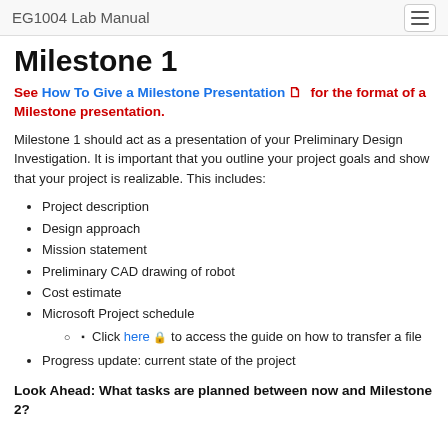EG1004 Lab Manual
Milestone 1
See How To Give a Milestone Presentation 🗋 for the format of a Milestone presentation.
Milestone 1 should act as a presentation of your Preliminary Design Investigation. It is important that you outline your project goals and show that your project is realizable. This includes:
Project description
Design approach
Mission statement
Preliminary CAD drawing of robot
Cost estimate
Microsoft Project schedule
Click here 🔒 to access the guide on how to transfer a file
Progress update: current state of the project
Look Ahead: What tasks are planned between now and Milestone 2?